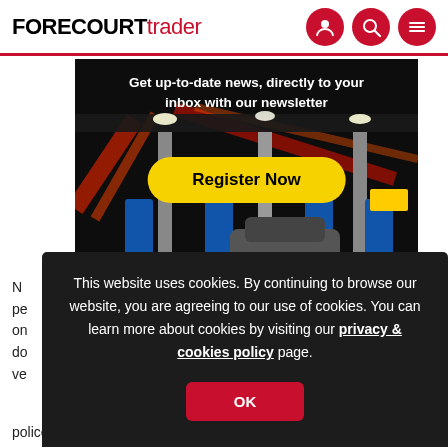FORECOURT trader
[Figure (screenshot): Newsletter signup banner with gas station at night background. Text: 'Get up-to-date news, directly to your inbox with our newsletter'. Yellow 'Register Now' button.]
N... pe... on... do... ve... e police.
This website uses cookies. By continuing to browse our website, you are agreeing to our use of cookies. You can learn more about cookies by visiting our privacy & cookies policy page.
OK